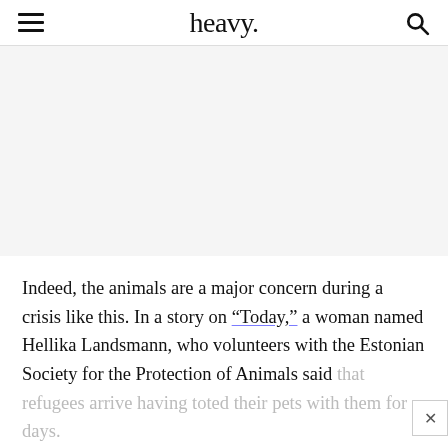heavy.
[Figure (other): Blank advertisement/empty space placeholder]
Indeed, the animals are a major concern during a crisis like this. In a story on “Today,” a woman named Hellika Landsmann, who volunteers with the Estonian Society for the Protection of Animals said that refugees arrive having toted their pets with them for days.